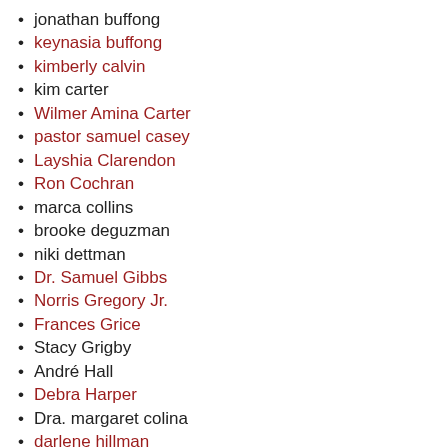jonathan buffong
keynasia buffong
kimberly calvin
kim carter
Wilmer Amina Carter
pastor samuel casey
Layshia Clarendon
Ron Cochran
marca collins
brooke deguzman
niki dettman
Dr. Samuel Gibbs
Norris Gregory Jr.
Frances Grice
Stacy Grigby
André Hall
Debra Harper
Dra. margaret colina
darlene hillman
Dorothy Inhram